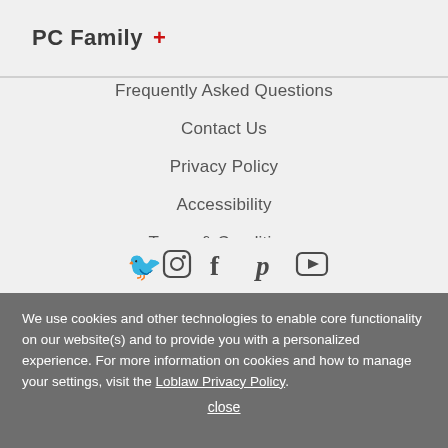PC Family +
Frequently Asked Questions
Contact Us
Privacy Policy
Accessibility
Terms & Conditions
Sitemap
[Figure (other): Social media icons: Twitter, Instagram, Facebook, Pinterest, YouTube]
We use cookies and other technologies to enable core functionality on our website(s) and to provide you with a personalized experience. For more information on cookies and how to manage your settings, visit the Loblaw Privacy Policy. close